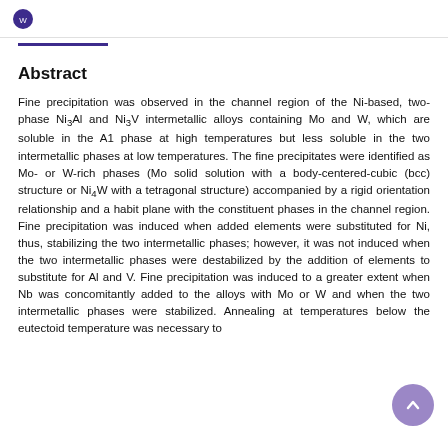Abstract
Fine precipitation was observed in the channel region of the Ni-based, two-phase Ni3Al and Ni3V intermetallic alloys containing Mo and W, which are soluble in the A1 phase at high temperatures but less soluble in the two intermetallic phases at low temperatures. The fine precipitates were identified as Mo- or W-rich phases (Mo solid solution with a body-centered-cubic (bcc) structure or Ni4W with a tetragonal structure) accompanied by a rigid orientation relationship and a habit plane with the constituent phases in the channel region. Fine precipitation was induced when added elements were substituted for Ni, thus, stabilizing the two intermetallic phases; however, it was not induced when the two intermetallic phases were destabilized by the addition of elements to substitute for Al and V. Fine precipitation was induced to a greater extent when Nb was concomitantly added to the alloys with Mo or W and when the two intermetallic phases were stabilized. Annealing at temperatures below the eutectoid temperature was necessary to